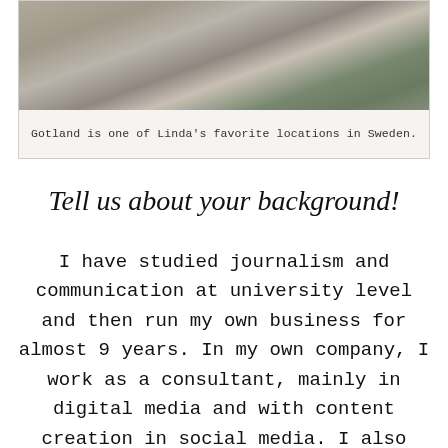[Figure (photo): Photo of a cobblestone street or path, partially cropped at top]
Gotland is one of Linda's favorite locations in Sweden.
Tell us about your background!
I have studied journalism and communication at university level and then run my own business for almost 9 years. In my own company, I work as a consultant, mainly in digital media and with content creation in social media. I also run, for many years, the popular online shop